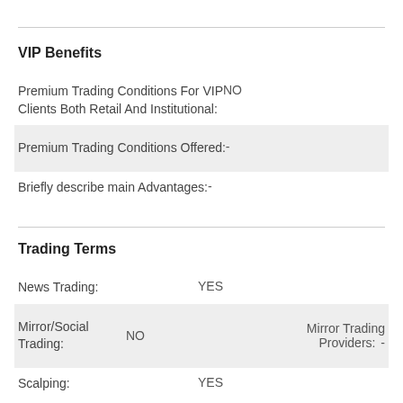VIP Benefits
| Premium Trading Conditions For VIP Clients Both Retail And Institutional: | NO |  |  |
| Premium Trading Conditions Offered: | - |  |  |
| Briefly describe main Advantages: | - |  |  |
Trading Terms
| News Trading: | YES |  |  |
| Mirror/Social Trading: | NO | Mirror Trading Providers: | - |
| Scalping: | YES |  |  |